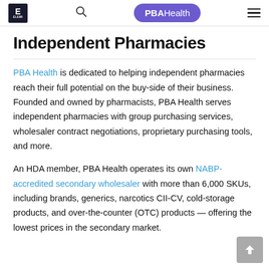E [logo] | [search icon] | PBAHealth [button] | [hamburger menu]
Independent Pharmacies
PBA Health is dedicated to helping independent pharmacies reach their full potential on the buy-side of their business. Founded and owned by pharmacists, PBA Health serves independent pharmacies with group purchasing services, wholesaler contract negotiations, proprietary purchasing tools, and more.
An HDA member, PBA Health operates its own NABP-accredited secondary wholesaler with more than 6,000 SKUs, including brands, generics, narcotics CII-CV, cold-storage products, and over-the-counter (OTC) products — offering the lowest prices in the secondary market.